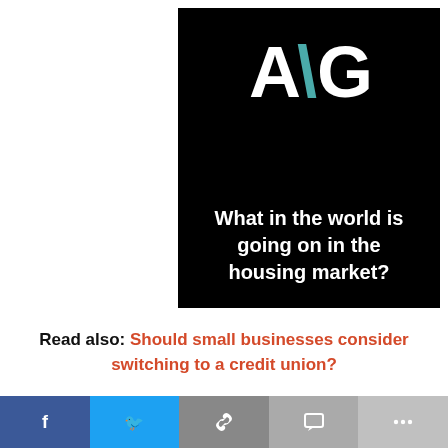[Figure (logo): A/G logo on black background with tagline 'What in the world is going on in the housing market?']
Read also: Should small businesses consider switching to a credit union?
An onslaught of
[Figure (infographic): Social sharing bar with Facebook, Twitter, link, comment, and more buttons]